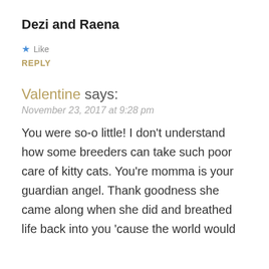Dezi and Raena
★ Like
REPLY
Valentine says:
November 23, 2017 at 9:28 pm
You were so-o little! I don't understand how some breeders can take such poor care of kitty cats. You're momma is your guardian angel. Thank goodness she came along when she did and breathed life back into you 'cause the world would